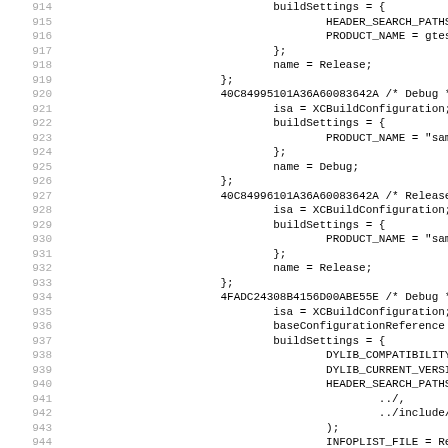Source code listing, lines 914-946, Xcode project build configuration file (.pbxproj). Shows XCBuildConfiguration entries for Debug and Release configurations including HEADER_SEARCH_PATHS, PRODUCT_NAME, DYLIB_COMPATIBILITY_VERSION, DYLIB_CURRENT_VERSION, INFOPLIST_FILE, INFOPLIST_PREFIX_HEADER, INFOPLIST_PREPROCESS settings.